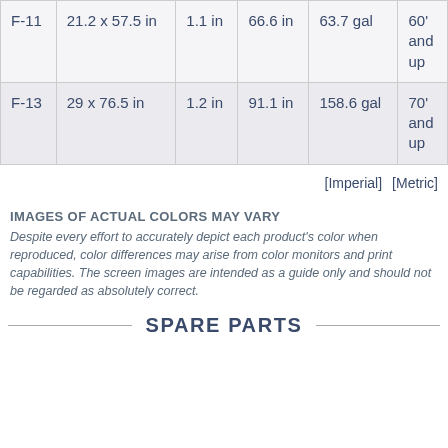| Model | Dimensions | Hose Diameter | Length | Capacity | Pool Size |
| --- | --- | --- | --- | --- | --- |
| F-11 | 21.2 x 57.5 in | 1.1 in | 66.6 in | 63.7 gal | 60' and up |
| F-13 | 29 x 76.5 in | 1.2 in | 91.1 in | 158.6 gal | 70' and up |
[Imperial]   [Metric]
IMAGES OF ACTUAL COLORS MAY VARY
Despite every effort to accurately depict each product's color when reproduced, color differences may arise from color monitors and print capabilities. The screen images are intended as a guide only and should not be regarded as absolutely correct.
SPARE PARTS